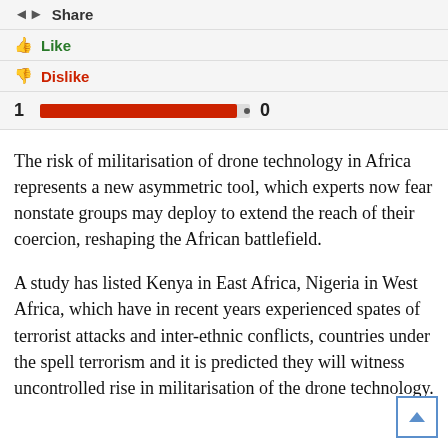Share
Like
Dislike
[Figure (infographic): Rating bar showing 1 like and 0 dislikes with a red progress bar mostly filled]
The risk of militarisation of drone technology in Africa represents a new asymmetric tool, which experts now fear nonstate groups may deploy to extend the reach of their coercion, reshaping the African battlefield.
A study has listed Kenya in East Africa, Nigeria in West Africa, which have in recent years experienced spates of terrorist attacks and inter-ethnic conflicts, countries under the spell terrorism and it is predicted they will witness uncontrolled rise in militarisation of the drone technology.